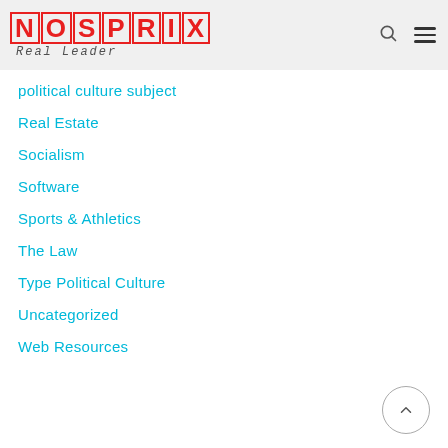NOSPRIX Real Leader
political culture subject
Real Estate
Socialism
Software
Sports & Athletics
The Law
Type Political Culture
Uncategorized
Web Resources